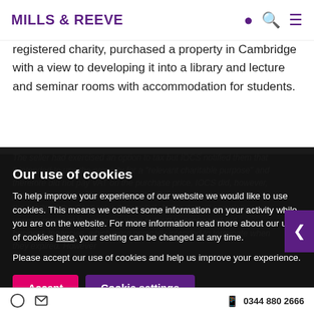MILLS & REEVE
registered charity, purchased a property in Cambridge with a view to developing it into a library and lecture and seminar rooms with accommodation for students.
The seller had exercised an option to tax but IOCS notified them that it intended to use the property for a "relevant charitable purpose" and therefore did not pay VAT on the purchase price. IOCS did, however, provide the seller with an option in the Contract, which should bear the liability if the Contractor demanded. At the date of completion, various rooms at the property were subject to contracted out business tenancies, which were originally intended to terminate when they expired. However
Our use of cookies
To help improve your experience of our website we would like to use cookies. This means we collect some information on your activity while you are on the website. For more information read more about our use of cookies here, your setting can be changed at any time.
Please accept our use of cookies and help us improve your experience.
Accept
Cookie settings
0344 880 2666